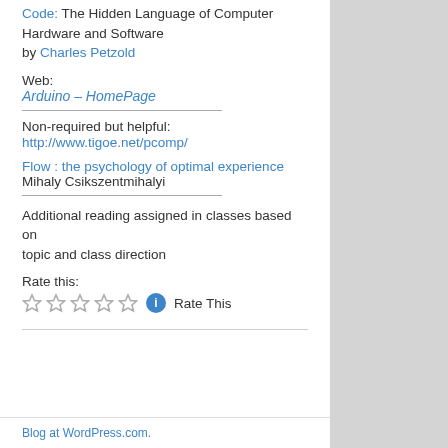Code: The Hidden Language of Computer Hardware and Software by Charles Petzold
Web:
Arduino – HomePage
Non-required but helpful:
http://www.tigoe.net/pcomp/
Flow : the psychology of optimal experience
Mihaly Csikszentmihalyi
Additional reading assigned in classes based on topic and class direction
Rate this:
Rate This
Blog at WordPress.com.